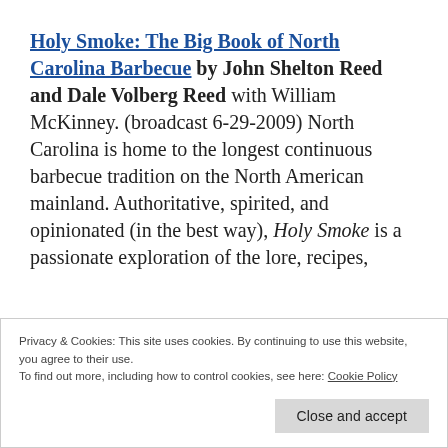Holy Smoke: The Big Book of North Carolina Barbecue by John Shelton Reed and Dale Volberg Reed with William McKinney. (broadcast 6-29-2009) North Carolina is home to the longest continuous barbecue tradition on the North American mainland. Authoritative, spirited, and opinionated (in the best way), Holy Smoke is a passionate exploration of the lore, recipes,
Privacy & Cookies: This site uses cookies. By continuing to use this website, you agree to their use.
To find out more, including how to control cookies, see here: Cookie Policy